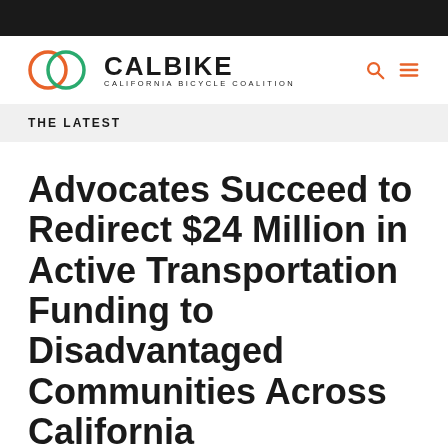[Figure (logo): CalBike California Bicycle Coalition logo with two interlocking circles (orange and green) and bold text CALBIKE with subtitle CALIFORNIA BICYCLE COALITION]
THE LATEST
Advocates Succeed to Redirect $24 Million in Active Transportation Funding to Disadvantaged Communities Across California